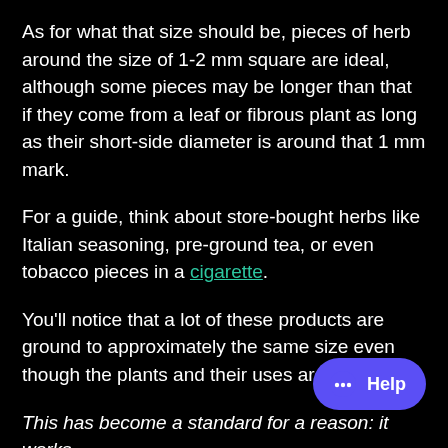As for what that size should be, pieces of herb around the size of 1-2 mm square are ideal, although some pieces may be longer than that if they come from a leaf or fibrous plant as long as their short-side diameter is around that 1 mm mark.
For a guide, think about store-bought herbs like Italian seasoning, pre-ground tea, or even tobacco pieces in a cigarette.
You'll notice that a lot of these products are ground to approximately the same size even though the plants and their uses are different.
This has become a standard for a reason: it works.
So aim for this type of size for your grind, and also make sure that the grinder you are using produces a consistent grind so all pieces are roughly the same size.